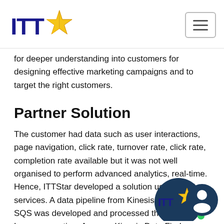ITTStar logo and navigation
for deeper understanding into customers for designing effective marketing campaigns and to target the right customers.
Partner Solution
The customer had data such as user interactions, page navigation, click rate, turnover rate, click rate, completion rate available but it was not well organised to perform advanced analytics, real-time. Hence, ITTStar developed a solution using AWS services. A data pipeline from Kinesis firehose to SQS was developed and processed through a Lambda function. Amazon Kinesis Data Firehose was used to load data to S3 buckets. AWS Lambda is used for formulation of user-level engagement analytics and
[Figure (logo): ITTStar chat/contact widget overlay in bottom right corner]